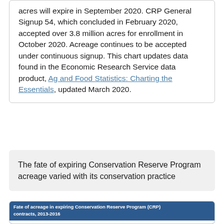acres will expire in September 2020. CRP General Signup 54, which concluded in February 2020, accepted over 3.8 million acres for enrollment in October 2020. Acreage continues to be accepted under continuous signup. This chart updates data found in the Economic Research Service data product, Ag and Food Statistics: Charting the Essentials, updated March 2020.
The fate of expiring Conservation Reserve Program acreage varied with its conservation practice
[Figure (other): Partial view of a stacked area/bar chart titled 'Fate of acreage in expiring Conservation Reserve Program (CRP) contracts, 2013-2016'. Shows Grass practices row with colored bands and a label 'Reenrolled 2,756,818'.]